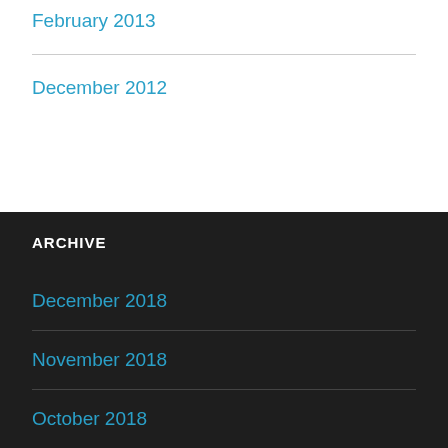February 2013
December 2012
ARCHIVE
December 2018
November 2018
October 2018
September 2018